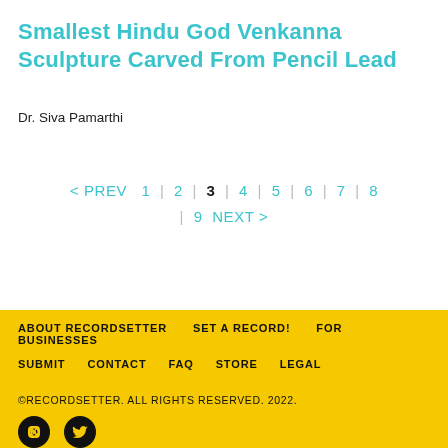Smallest Hindu God Venkanna Sculpture Carved From Pencil Lead
Dr. Siva Pamarthi
< PREV  1  |  2  |  3  |  4  |  5  |  6  |  7  |  8  |  9  NEXT >
ABOUT RECORDSETTER   SET A RECORD!   FOR BUSINESSES   SUBMIT   CONTACT   FAQ   STORE   LEGAL   ©RECORDSETTER. ALL RIGHTS RESERVED. 2022.